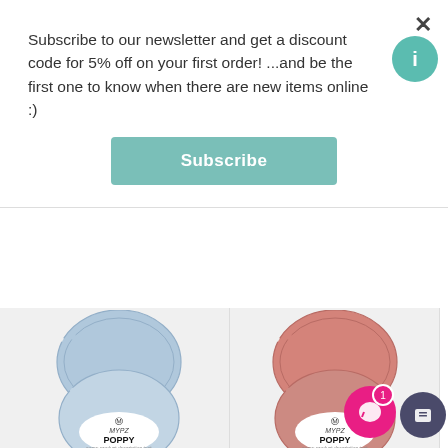Subscribe to our newsletter and get a discount code for 5% off on your first order! ...and be the first one to know when there are new items online :)
Subscribe
[Figure (photo): Ball of light blue MYPZ Poppy yarn]
[Figure (photo): Ball of pink/rose MYPZ Poppy yarn]
MYPZ Poppy – Nuvola
$9.00 USD
MYPZ Poppy – Mughetto
$9.00 USD
MYPZ Po
Add to cart
Add to cart